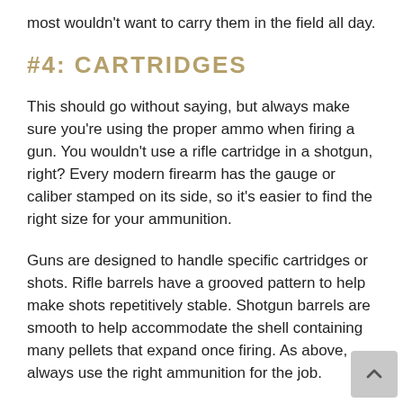most wouldn't want to carry them in the field all day.
#4: CARTRIDGES
This should go without saying, but always make sure you're using the proper ammo when firing a gun. You wouldn't use a rifle cartridge in a shotgun, right? Every modern firearm has the gauge or caliber stamped on its side, so it's easier to find the right size for your ammunition.
Guns are designed to handle specific cartridges or shots. Rifle barrels have a grooved pattern to help make shots repetitively stable. Shotgun barrels are smooth to help accommodate the shell containing many pellets that expand once firing. As above, always use the right ammunition for the job.